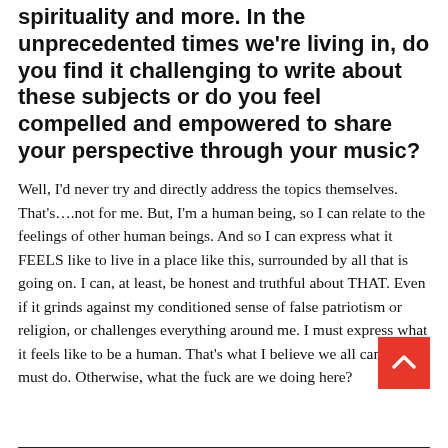spirituality and more. In the unprecedented times we're living in, do you find it challenging to write about these subjects or do you feel compelled and empowered to share your perspective through your music?
Well, I'd never try and directly address the topics themselves. That's….not for me. But, I'm a human being, so I can relate to the feelings of other human beings. And so I can express what it FEELS like to live in a place like this, surrounded by all that is going on. I can, at least, be honest and truthful about THAT. Even if it grinds against my conditioned sense of false patriotism or religion, or challenges everything around me. I must express what it feels like to be a human. That's what I believe we all can and must do. Otherwise, what the fuck are we doing here?